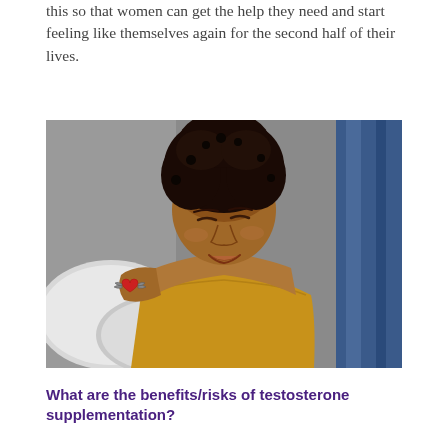this so that women can get the help they need and start feeling like themselves again for the second half of their lives.
[Figure (photo): A smiling Black woman with natural curly hair, wearing an off-shoulder mustard yellow top, looking downward. She has a heart-with-wings tattoo on her shoulder. Background shows a bed with white pillows and blue curtains.]
What are the benefits/risks of testosterone supplementation?